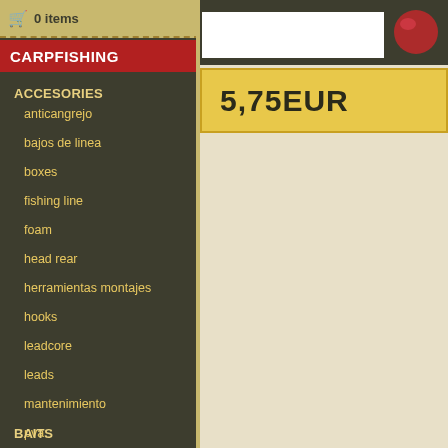0 items
CARPFISHING
ACCESORIES
anticangrejo
bajos de linea
boxes
fishing line
foam
head rear
herramientas montajes
hooks
leadcore
leads
mantenimiento
pva
swivels
tungsteno
zig rig superficie
BAITS
[Figure (photo): Product thumbnail image with red/dark coloring]
5,75EUR